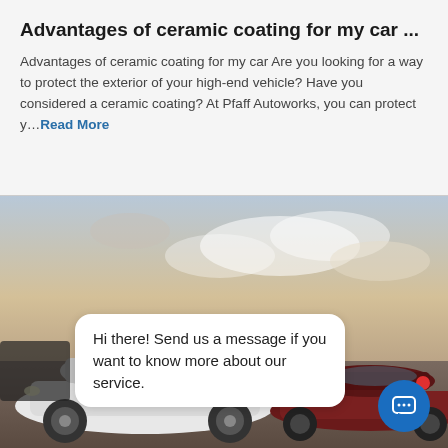Advantages of ceramic coating for my car ...
Advantages of ceramic coating for my car  Are you looking for a way to protect the exterior of your high-end vehicle? Have you considered a ceramic coating? At Pfaff Autoworks, you can protect y…Read More
[Figure (photo): Two Tesla cars (white and dark red/maroon) parked outdoors with a dramatic cloudy sky in the background. A chat message bubble overlays the image reading: 'Hi there! Send us a message if you want to know more about our service.' A blue circular chat icon with a red notification dot is visible in the bottom right corner.]